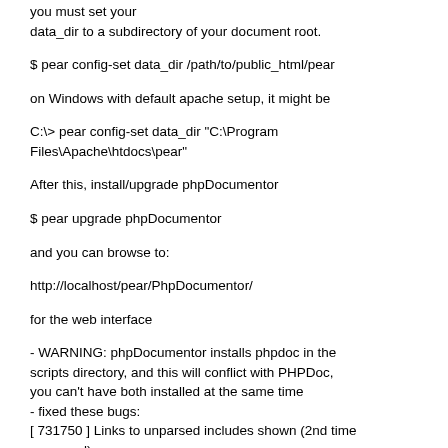you must set your data_dir to a subdirectory of your document root.
$ pear config-set data_dir /path/to/public_html/pear
on Windows with default apache setup, it might be
C:\> pear config-set data_dir "C:\Program Files\Apache\htdocs\pear"
After this, install/upgrade phpDocumentor
$ pear upgrade phpDocumentor
and you can browse to:
http://localhost/pear/PhpDocumentor/
for the web interface
- WARNING: phpDocumentor installs phpdoc in the scripts directory, and this will conflict with PHPDoc, you can't have both installed at the same time
- fixed these bugs:
[ 731750 ] Links to unparsed includes shown (2nd time reopened)
[ 771531 ] body styles not explicitly white
[ 795095 ] top_frame.tpl doesn't output single RIC elemen